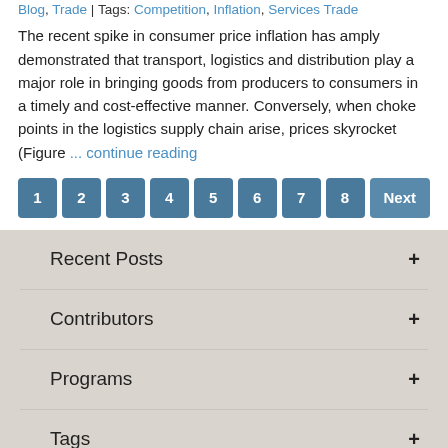Blog, Trade | Tags: Competition, Inflation, Services Trade
The recent spike in consumer price inflation has amply demonstrated that transport, logistics and distribution play a major role in bringing goods from producers to consumers in a timely and cost-effective manner. Conversely, when choke points in the logistics supply chain arise, prices skyrocket (Figure ... continue reading
1 2 3 4 5 6 7 8 Next
Recent Posts +
Contributors +
Programs +
Tags +
Archives +